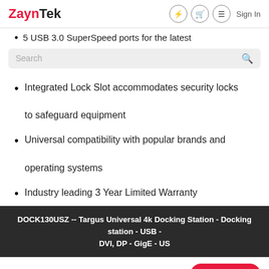ZaynTek — Sign In
5 USB 3.0 SuperSpeed ports for the latest
Integrated Lock Slot accommodates security locks to safeguard equipment
Universal compatibility with popular brands and operating systems
Industry leading 3 Year Limited Warranty
DOCK130USZ -- Targus Universal 4k Docking Station - Docking station - USB - DVI, DP - GigE - US
Top | Description | Specs | Related | Buy $177.95